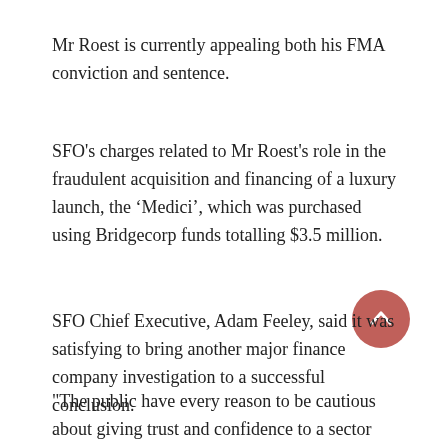Mr Roest is currently appealing both his FMA conviction and sentence.
SFO's charges related to Mr Roest's role in the fraudulent acquisition and financing of a luxury launch, the ‘Medici’, which was purchased using Bridgecorp funds totalling $3.5 million.
SFO Chief Executive, Adam Feeley, said it was satisfying to bring another major finance company investigation to a successful conclusion.
"The public have every reason to be cautious about giving trust and confidence to a sector that caused such considerable losses. However, these and other recent